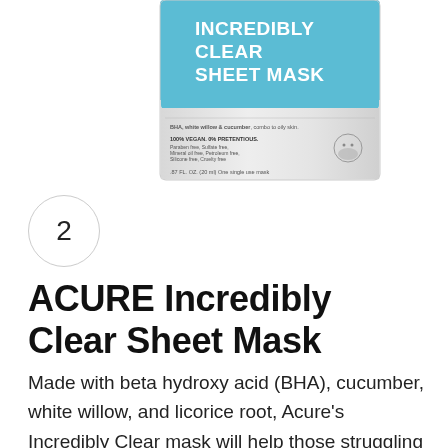[Figure (photo): Product photo of ACURE Incredibly Clear Sheet Mask packaging. The package has a teal/light blue top section with white bold text reading 'INCREDIBLY CLEAR SHEET MASK', and a silver/grey bottom section with product details including 'BHA, white willow & cucumber, combo to oily skin', '100% VEGAN. 0% PRETENTIOUS.', 'Paraben free, Sulfate free, Mineral oil free, Petroleum free, Silicone free, Cruelty free', '.87 FL. OZ. (20 ml) One single use mask', and a face mask illustration icon.]
2
ACURE Incredibly Clear Sheet Mask
Made with beta hydroxy acid (BHA), cucumber, white willow, and licorice root, Acure's Incredibly Clear mask will help those struggling with excess oil and acne.